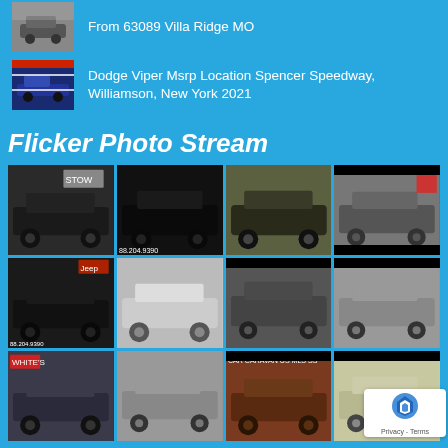From 63089 Villa Ridge MO
Dodge Viper Msrp Location Spencer Speedway, Williamson, New York 2021
Flicker Photo Stream
[Figure (photo): Grid of 12 car photos showing various Dodge Grand Caravan minivans in black, gray, white, and silver colors from different dealership locations]
[Figure (logo): reCAPTCHA badge with Privacy - Terms text]